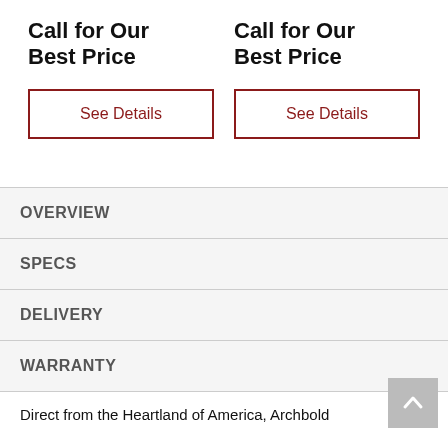Call for Our Best Price
Call for Our Best Price
See Details
See Details
OVERVIEW
SPECS
DELIVERY
WARRANTY
Direct from the Heartland of America, Archbold